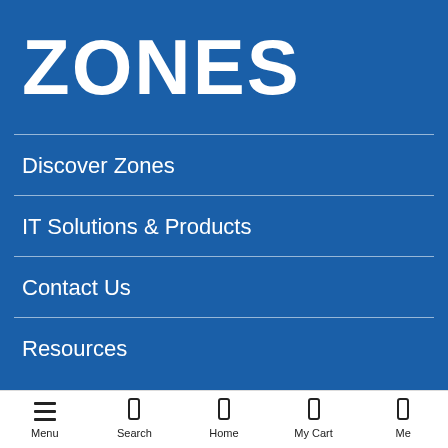ZONES
Discover Zones
IT Solutions & Products
Contact Us
Resources
Menu  Search  Home  My Cart  Me